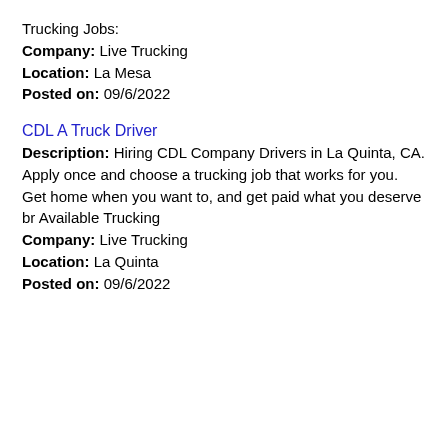Trucking Jobs:
Company: Live Trucking
Location: La Mesa
Posted on: 09/6/2022
CDL A Truck Driver
Description: Hiring CDL Company Drivers in La Quinta, CA. Apply once and choose a trucking job that works for you. Get home when you want to, and get paid what you deserve br Available Trucking
Company: Live Trucking
Location: La Quinta
Posted on: 09/6/2022